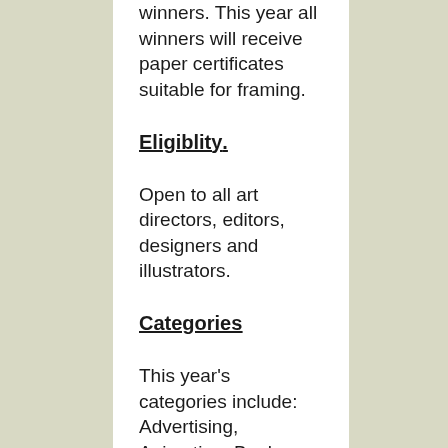winners. This year all winners will receive paper certificates suitable for framing.
Eligiblity
Open to all art directors, editors, designers and illustrators.
Categories
This year's categories include: Advertising, Animation, Books,